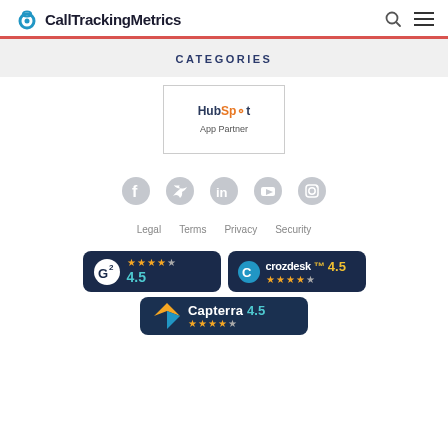CallTrackingMetrics
CATEGORIES
[Figure (logo): HubSpot App Partner badge — white card with HubSpot logo text and 'App Partner' subtitle]
[Figure (infographic): Row of social media icons: Facebook, Twitter, LinkedIn, YouTube, Instagram — all in light grey]
Legal   Terms   Privacy   Security
[Figure (infographic): G2 rating badge: dark navy background, G2 logo, 4.5 stars, score 4.5]
[Figure (infographic): Crozdesk rating badge: dark navy background, Crozdesk logo, 4.5 stars, score 4.5]
[Figure (infographic): Capterra rating badge: dark navy background, Capterra logo, 4.5 stars, score 4.5]